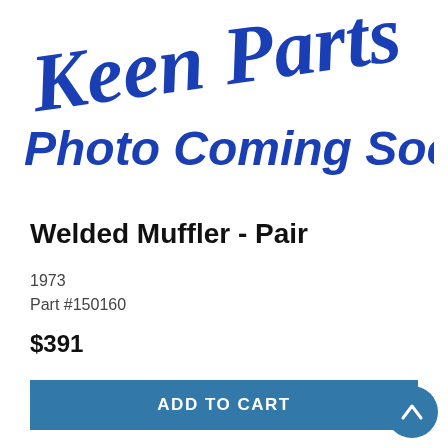[Figure (logo): Keen Parts cursive logo in blue, with text 'Photo Coming Soon!' in bold blue italic script below]
Welded Muffler - Pair
1973
Part #150160
$391
ADD TO CART